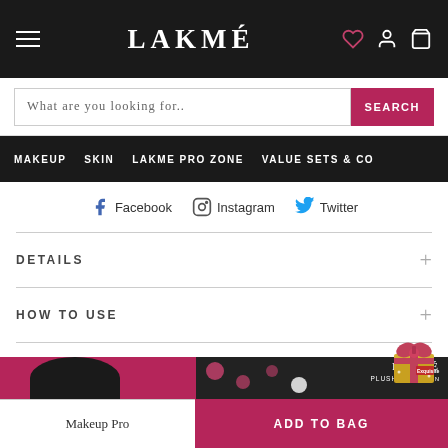LAKMÉ — navigation bar with hamburger menu, logo, wishlist, account, and bag icons
What are you looking for..  SEARCH
MAKEUP  SKIN  LAKME PRO ZONE  VALUE SETS & CO
Facebook  Instagram  Twitter
DETAILS
HOW TO USE
[Figure (screenshot): Lakmé Absolute Plush Matte Lipstick product image with person and pink dots on dark background, and a gift icon overlay]
Makeup Pro  ADD TO BAG